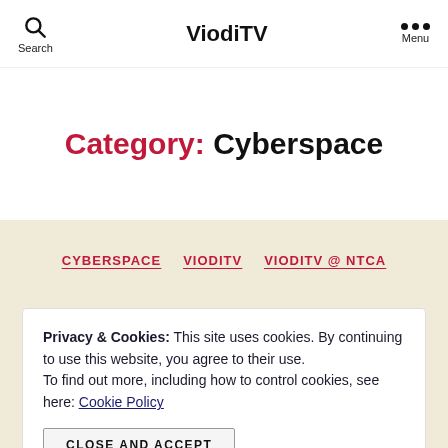Search | ViodiTV | Menu
Category: Cyberspace
CYBERSPACE   VIODITV   VIODITV @ NTCA
Privacy & Cookies: This site uses cookies. By continuing to use this website, you agree to their use.
To find out more, including how to control cookies, see here: Cookie Policy
CLOSE AND ACCEPT